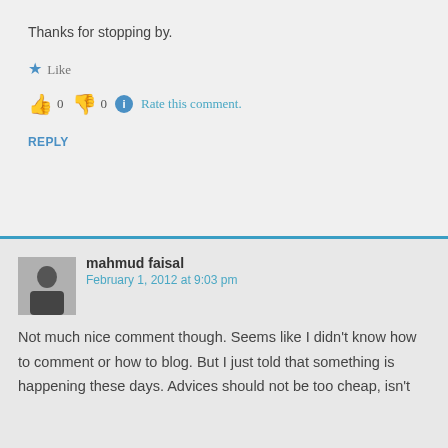Thanks for stopping by.
Like
0  0  Rate this comment.
REPLY
mahmud faisal
February 1, 2012 at 9:03 pm
Not much nice comment though. Seems like I didn't know how to comment or how to blog. But I just told that something is happening these days. Advices should not be too cheap, isn't